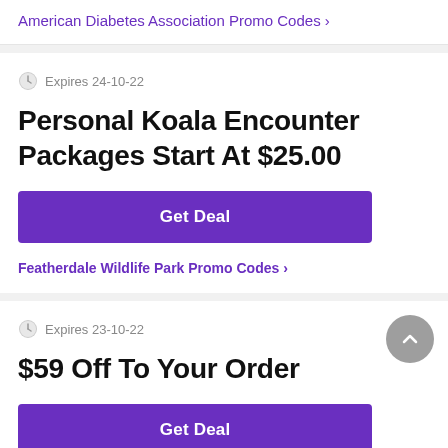American Diabetes Association Promo Codes >
Expires 24-10-22
Personal Koala Encounter Packages Start At $25.00
Get Deal
Featherdale Wildlife Park Promo Codes >
Expires 23-10-22
$59 Off To Your Order